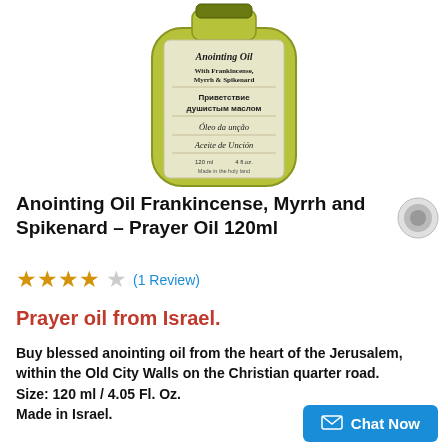[Figure (photo): Bottle of Anointing Oil with Frankincense, Myrrh & Spikenard label, showing multilingual text including English, Russian, Portuguese, and Spanish, 120ml / 4 fl.oz., Made in the holy land]
Anointing Oil Frankincense, Myrrh and Spikenard - Prayer Oil 120ml
★★★★☆ (1 Review)
Prayer oil from Israel.
Buy blessed anointing oil from the heart of the Jerusalem, within the Old City Walls on the Christian quarter road.
Size: 120 ml / 4.05 Fl. Oz.
Made in Israel.